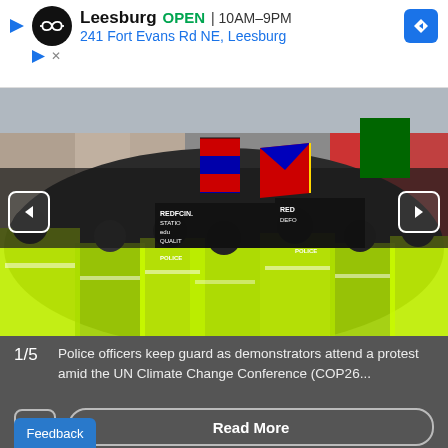[Figure (infographic): Advertisement banner for a store: Leesburg OPEN 10AM-9PM, 241 Fort Evans Rd NE, Leesburg, with a navigation icon and store logo]
[Figure (photo): Police officers in hi-vis yellow jackets keep guard as a large crowd of demonstrators attend a protest, with Tibetan and other flags visible, banners reading REDFCIN, STATIO, edu, QUALIT, RED DEFO, amid city buildings during the UN Climate Change Conference COP26]
1/5  Police officers keep guard as demonstrators attend a protest amid the UN Climate Change Conference (COP26...
Read More